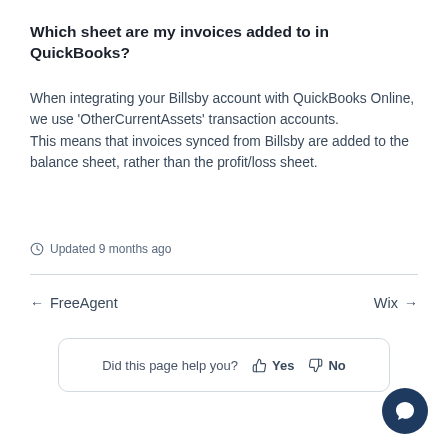Which sheet are my invoices added to in QuickBooks?
When integrating your Billsby account with QuickBooks Online, we use 'OtherCurrentAssets' transaction accounts.
This means that invoices synced from Billsby are added to the balance sheet, rather than the profit/loss sheet.
Updated 9 months ago
← FreeAgent   Wix →
Did this page help you? Yes No